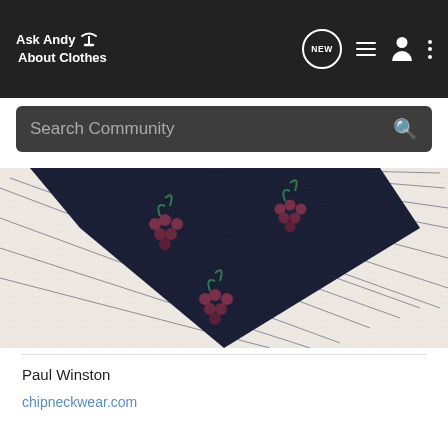Ask Andy About Clothes
Search Community
[Figure (photo): Close-up photo of a dark navy necktie with a repeating grape cluster pattern (dark red grapes with green curling vines), laid diagonally on a white textured fabric background.]
Paul Winston
chipneckwear.com